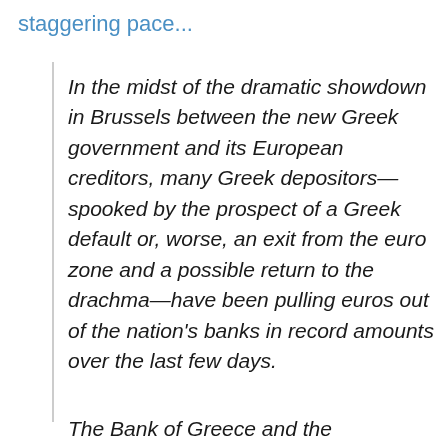staggering pace…
In the midst of the dramatic showdown in Brussels between the new Greek government and its European creditors, many Greek depositors—spooked by the prospect of a Greek default or, worse, an exit from the euro zone and a possible return to the drachma—have been pulling euros out of the nation's banks in record amounts over the last few days.
The Bank of Greece and the